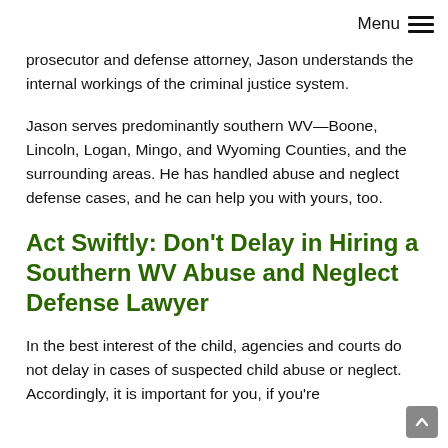Menu
prosecutor and defense attorney, Jason understands the internal workings of the criminal justice system.
Jason serves predominantly southern WV—Boone, Lincoln, Logan, Mingo, and Wyoming Counties, and the surrounding areas. He has handled abuse and neglect defense cases, and he can help you with yours, too.
Act Swiftly: Don't Delay in Hiring a Southern WV Abuse and Neglect Defense Lawyer
In the best interest of the child, agencies and courts do not delay in cases of suspected child abuse or neglect. Accordingly, it is important for you, if you're